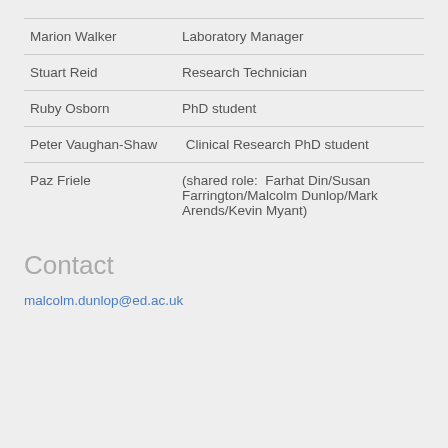| Name | Role |
| --- | --- |
| Marion Walker | Laboratory Manager |
| Stuart Reid | Research Technician |
| Ruby Osborn | PhD student |
| Peter Vaughan-Shaw | Clinical Research PhD student |
| Paz Friele | (shared role:  Farhat Din/Susan Farrington/Malcolm Dunlop/Mark Arends/Kevin Myant) |
Contact
malcolm.dunlop@ed.ac.uk